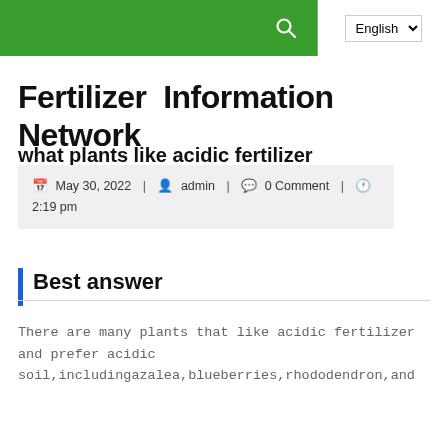Fertilizer Information Network | English [language selector] | search
Fertilizer Information Network
what plants like acidic fertilizer
May 30, 2022 | admin | 0 Comment | 2:19 pm
Best answer
There are many plants that like acidic fertilizer and prefer acidic soil,includingazalea,blueberries,rhododendron,and